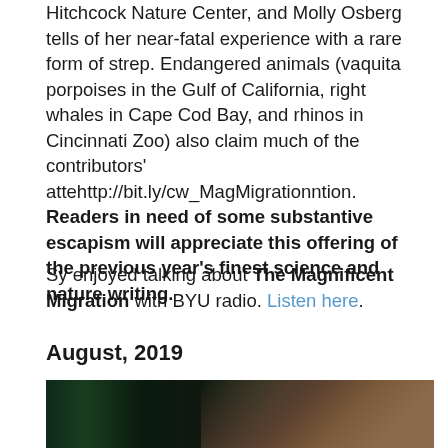Hitchcock Nature Center, and Molly Osberg tells of her near-fatal experience with a rare form of strep. Endangered animals (vaquita porpoises in the Gulf of California, right whales in Cape Cod Bay, and rhinos in Cincinnati Zoo) also claim much of the contributors' attehttp://bit.ly/cw_MagMigrationntion. Readers in need of some substantive escapism will appreciate this offering of the previous year's finest science and nature writing.
Sy enjoyed talking about The Magnificent Migration with BYU radio. Listen here.
August, 2019
[Figure (photo): Dark photograph showing hands interacting with something, dark green and brown tones]